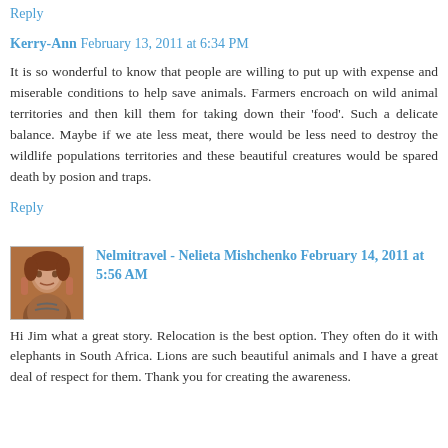Reply
Kerry-Ann  February 13, 2011 at 6:34 PM
It is so wonderful to know that people are willing to put up with expense and miserable conditions to help save animals. Farmers encroach on wild animal territories and then kill them for taking down their ‘food’. Such a delicate balance. Maybe if we ate less meat, there would be less need to destroy the wildlife populations territories and these beautiful creatures would be spared death by posion and traps.
Reply
Nelmitravel - Nelieta Mishchenko  February 14, 2011 at 5:56 AM
Hi Jim what a great story. Relocation is the best option. They often do it with elephants in South Africa. Lions are such beautiful animals and I have a great deal of respect for them. Thank you for creating the awareness.